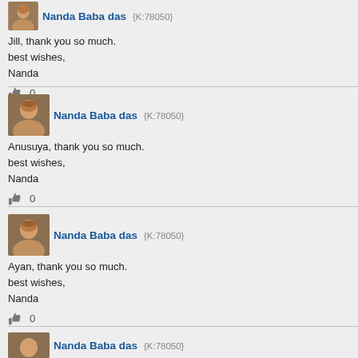[Figure (photo): Avatar photo of Nanda Baba das]
Nanda Baba das  {K:78050}
Jill, thank you so much.
best wishes,
Nanda
0
[Figure (photo): Avatar photo of Nanda Baba das]
Nanda Baba das  {K:78050}
Anusuya, thank you so much.
best wishes,
Nanda
0
[Figure (photo): Avatar photo of Nanda Baba das]
Nanda Baba das  {K:78050}
Ayan, thank you so much.
best wishes,
Nanda
0
[Figure (photo): Avatar photo of Nanda Baba das]
Nanda Baba das  {K:78050}